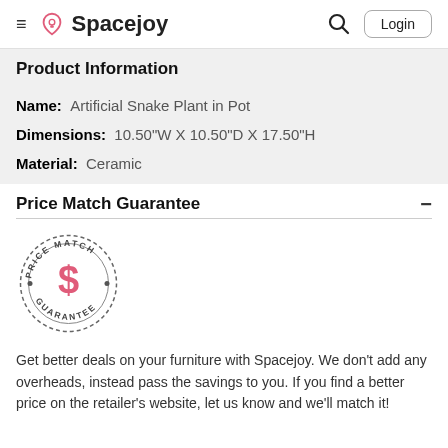Spacejoy
Product Information
Name: Artificial Snake Plant in Pot
Dimensions: 10.50"W X 10.50"D X 17.50"H
Material: Ceramic
Price Match Guarantee
[Figure (logo): Price Match Guarantee circular stamp logo with dollar sign in pink/red]
Get better deals on your furniture with Spacejoy. We don't add any overheads, instead pass the savings to you. If you find a better price on the retailer's website, let us know and we'll match it!